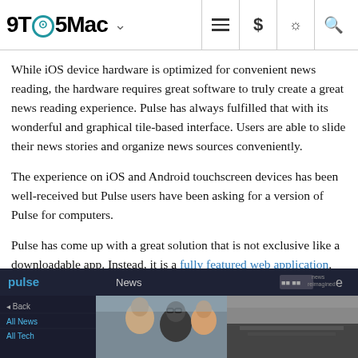9TO5Mac
While iOS device hardware is optimized for convenient news reading, the hardware requires great software to truly create a great news reading experience. Pulse has always fulfilled that with its wonderful and graphical tile-based interface. Users are able to slide their news stories and organize news sources conveniently.
The experience on iOS and Android touchscreen devices has been well-received but Pulse users have been asking for a version of Pulse for computers.
Pulse has come up with a great solution that is not exclusive like a downloadable app. Instead, it is a fully featured web application. Read on for all of the details:
[Figure (screenshot): Screenshot of the Pulse web application showing a dark-themed news reader interface with sidebar navigation and news article thumbnails]